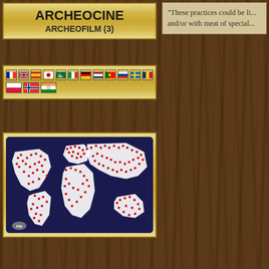ARCHEOCINE
ARCHEOFILM (3)
[Figure (infographic): Row of country flags including French, US/UK, Spanish, Japanese, Saudi, Italian, German, Dutch, Portuguese, Russian, Swedish, Romanian, Polish, Norwegian, Indian flags]
[Figure (map): World map with dark blue background showing continents in white/cream and numerous red dots scattered across all continents indicating geographic distribution]
"These practices could be li... and/or with meat of special...